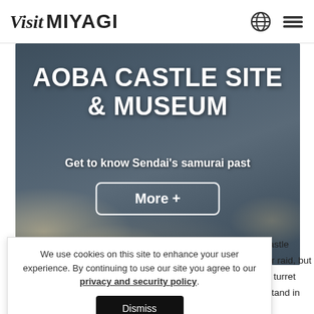Visit MIYAGI
[Figure (photo): Hero image of Aoba Castle Site & Museum with dark stone/shadow background. Contains title text 'AOBA CASTLE SITE & MUSEUM', subtitle 'Get to know Sendai's samurai past', and a 'More +' button.]
AOBA CASTLE SITE & MUSEUM
Get to know Sendai's samurai past
We use cookies on this site to enhance your user experience. By continuing to use our site you agree to our privacy and security policy.
ba Castle ndai air raid, but orner turret you stand in front of the statue of Date Masamune on horseback,